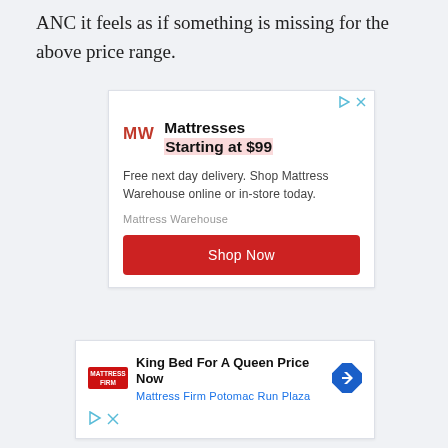ANC it feels as if something is missing for the above price range.
[Figure (infographic): Advertisement for Mattress Warehouse: logo 'MW' in red, headline 'Mattresses Starting at $99' with pink highlight, text 'Free next day delivery. Shop Mattress Warehouse online or in-store today.', sponsor 'Mattress Warehouse', red 'Shop Now' button, with play/close icons in top-right corner.]
[Figure (infographic): Advertisement for Mattress Firm Potomac Run Plaza: Mattress Firm logo, headline 'King Bed For A Queen Price Now', subtitle 'Mattress Firm Potomac Run Plaza' in blue, blue diamond direction icon on right, play and close icons at bottom-left.]